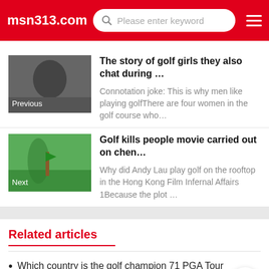msn313.com
The story of golf girls they also chat during …
Connotation joke: This is why men like playing golfThere are four women in the golf course who…
Golf kills people movie carried out on chen…
Why did Andy Lau play golf on the rooftop in the Hong Kong Film Infernal Affairs 1Because the plot …
Related articles
Which country is the golf champion 71 PGA Tour champi…
Injury of golf elbow caused by trauma thought golf wa…
Photos of Spanish golfers located in the blue water
The golf ball is in the water